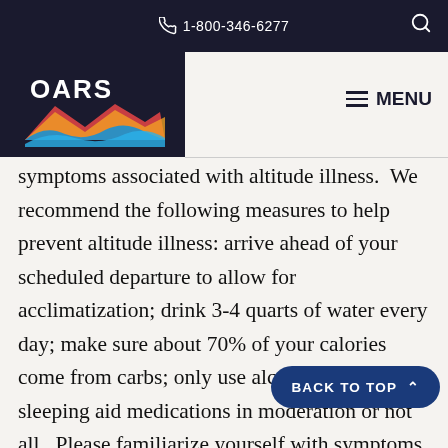1-800-346-6277
[Figure (logo): OARS logo with colorful river/waves design on dark navy background]
symptoms associated with altitude illness.  We recommend the following measures to help prevent altitude illness: arrive ahead of your scheduled departure to allow for acclimatization; drink 3-4 quarts of water every day; make sure about 70% of your calories come from carbs; only use alcohol, tobacco or sleeping aid medications in moderation or not all.  Please familiarize yourself with symptoms, treatment, and facts about altitude illness at the CDC.